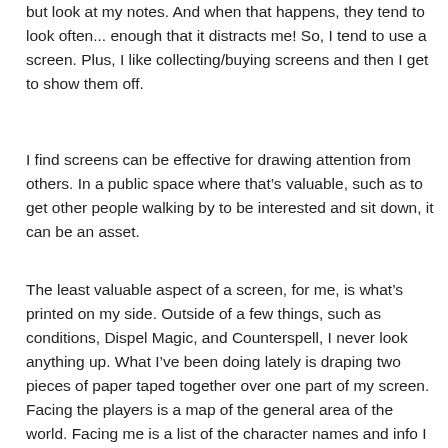but look at my notes. And when that happens, they tend to look often... enough that it distracts me! So, I tend to use a screen. Plus, I like collecting/buying screens and then I get to show them off.
I find screens can be effective for drawing attention from others. In a public space where that’s valuable, such as to get other people walking by to be interested and sit down, it can be an asset.
The least valuable aspect of a screen, for me, is what’s printed on my side. Outside of a few things, such as conditions, Dispel Magic, and Counterspell, I never look anything up. What I’ve been doing lately is draping two pieces of paper taped together over one part of my screen. Facing the players is a map of the general area of the world. Facing me is a list of the character names and info I want for help with roleplay: race, background, class/subclass, etc. I add a list of important campaign NPCs and similar notes. That’s